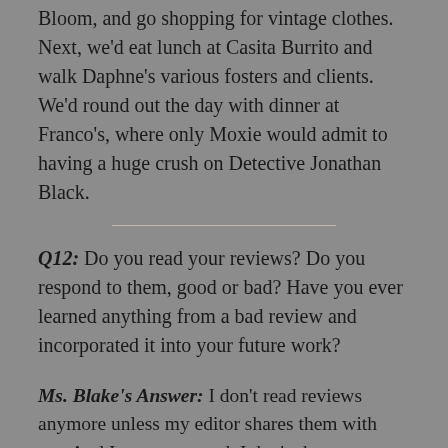Bloom, and go shopping for vintage clothes. Next, we'd eat lunch at Casita Burrito and walk Daphne's various fosters and clients. We'd round out the day with dinner at Franco's, where only Moxie would admit to having a huge crush on Detective Jonathan Black.
Q12: Do you read your reviews? Do you respond to them, good or bad? Have you ever learned anything from a bad review and incorporated it into your future work?
Ms. Blake's Answer: I don't read reviews anymore unless my editor shares them with me. And I never respond. I don't change my work to reflect reviews, either. There's no way you'll ever please everyone. I will say that the negative reviews I've received—and everyone gets some—have made me a more